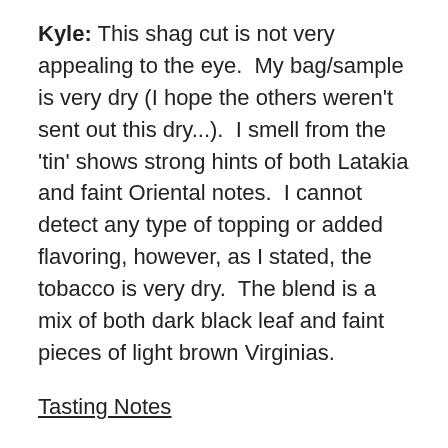Kyle: This shag cut is not very appealing to the eye. My bag/sample is very dry (I hope the others weren't sent out this dry...). I smell from the 'tin' shows strong hints of both Latakia and faint Oriental notes. I cannot detect any type of topping or added flavoring, however, as I stated, the tobacco is very dry. The blend is a mix of both dark black leaf and faint pieces of light brown Virginias.
Tasting Notes
Derek: Packs and lights well. A nice light sweetness is present. I notice some smokiness from a little touch of Latakia. To me, the main